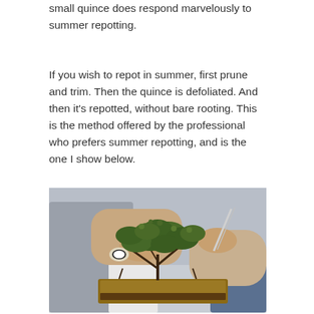small quince does respond marvelously to summer repotting.
If you wish to repot in summer, first prune and trim. Then the quince is defoliated. And then it's repotted, without bare rooting. This is the method offered by the professional who prefers summer repotting, and is the one I show below.
[Figure (photo): Hands working on a small bonsai quince tree in a wooden container, showing the repotting process. One person wears a watch. The plant has dense green foliage and exposed branching structure.]